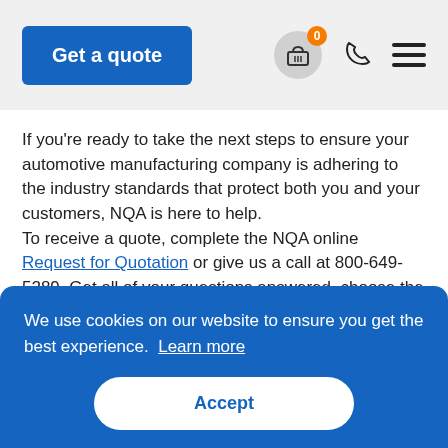Get a quote
If you're ready to take the next steps to ensure your automotive manufacturing company is adhering to the industry standards that protect both you and your customers, NQA is here to help.
To receive a quote, complete the NQA online Request for Quotation or give us a call at 800-649-5289. Get all of your questions answered, choose the package that works best for you, and then you're ready to go!
We use cookies on our website to ensure you get the best experience. Learn more
Accept